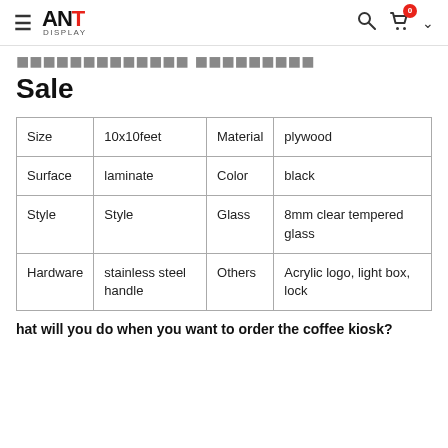ANT DISPLAY
Sale
| Size | 10x10feet | Material | plywood |
| Surface | laminate | Color | black |
| Style | Style | Glass | 8mm clear tempered glass |
| Hardware | stainless steel handle | Others | Acrylic logo, light box, lock |
hat will you do when you want to order the coffee kiosk?